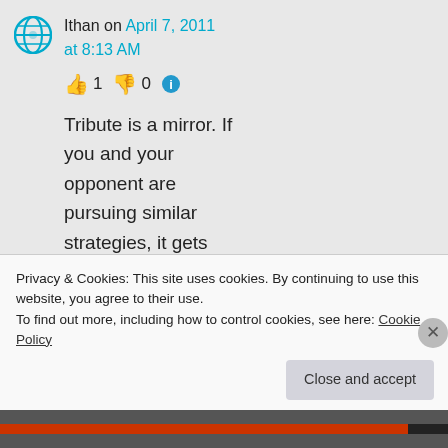Ithan on April 7, 2011 at 8:13 AM
👍 1 👎 0 ℹ️
Tribute is a mirror. If you and your opponent are pursuing similar strategies, it gets better. If both players are heavy on actions,
Privacy & Cookies: This site uses cookies. By continuing to use this website, you agree to their use.
To find out more, including how to control cookies, see here: Cookie Policy
Close and accept